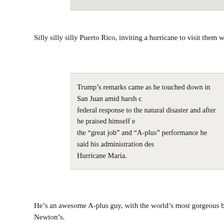Silly silly silly Puerto Rico, inviting a hurricane to visit them without checking the
Trump's remarks came as he touched down in San Juan amid harsh c federal response to the natural disaster and after he praised himself e the “great job” and “A-plus” performance he said his administration des Hurricane Maria.
He’s an awesome A-plus guy, with the world’s most gorgeous blonde hair and a Newton’s.
“Every death is a horror, but if you look at a real catastrophe like Katrin tremendous — hundreds and hundreds and hundreds of people that d happened here, with really a storm that was just totally overpowering, anything like this,” Trump said, before turning to a local official to ask h died in storm. “What is your death count as of this moment? 17? 16 pe versus in the thousands.”
Yay! So so lucky. Puerto Rico didn’t have a storm surge that drowned thousand that smashed every bit of infrastructure on the island, so they got to dis